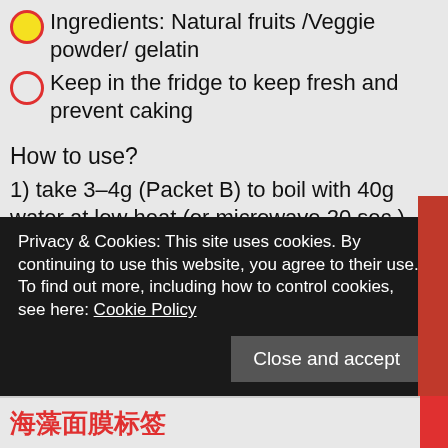Ingredients: Natural fruits /Veggie powder/ gelatin
Keep in the fridge to keep fresh and prevent caking
How to use?
1) take 3–4g (Packet B) to boil with 40g water at low heat (or microwave 20 sec ) until all crystal dissolved. Off the heat
2) add 3–4g (packet A – powder) added into the pot and mix well
3) Take a facial mask mold, fill in the mold with the pes, keep in fridge for 15 mins
Privacy & Cookies: This site uses cookies. By continuing to use this website, you agree to their use.
To find out more, including how to control cookies, see here: Cookie Policy
Close and accept
海藻面膜标签